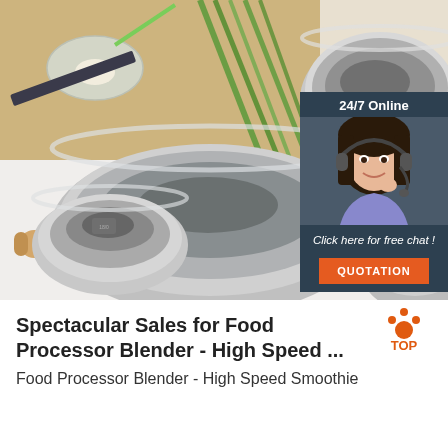[Figure (photo): Product photo of stainless steel mixing bowls with kitchen background (green onions, egg, whisk, rolling pin, tomato). An overlay widget on the right shows a customer service agent (woman with headset) with text '24/7 Online', 'Click here for free chat!', and an orange 'QUOTATION' button.]
[Figure (logo): Top logo mark — orange dot with surrounding orange dots forming a partial arc above, with the text 'TOP' in orange below the arc.]
Spectacular Sales for Food Processor Blender - High Speed ...
Food Processor Blender - High Speed Smoothie